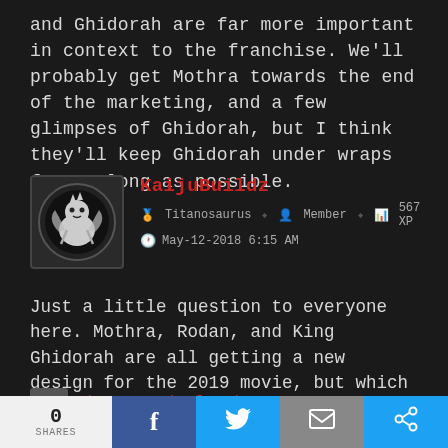and Ghidorah are far more important in context to the franchise. We'll probably get Mothra towards the end of the marketing, and a few glimpses of Ghidorah, but I think they'll keep Ghidorah under wraps for as long as possible.
KaijuBuildz
Titanosaurus   Member   567 XP
May-12-2018 6:15 AM
Just a little question to everyone here. Mothra, Rodan, and King Ghidorah are all getting a new design for the 2019 movie, but which of these 3 kaiju are you interested in seeing a new modern design for the most? Personally, I am most interested in the new design for Mothra.
The Legend of Brian